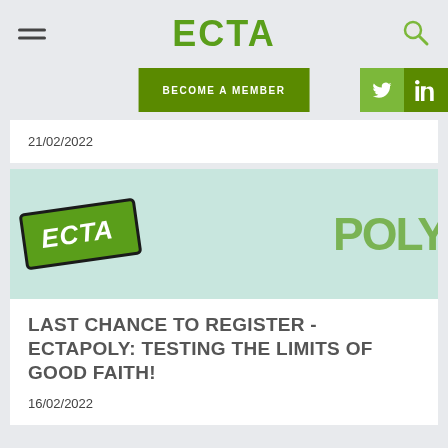ECTA
BECOME A MEMBER
21/02/2022
[Figure (logo): ECTA POLY logo badge on light teal background — green rectangular badge with 'ECTA' in bold white italic text, with 'POLY' partially visible in green to the right]
LAST CHANCE TO REGISTER - ECTAPOLY: TESTING THE LIMITS OF GOOD FAITH!
16/02/2022